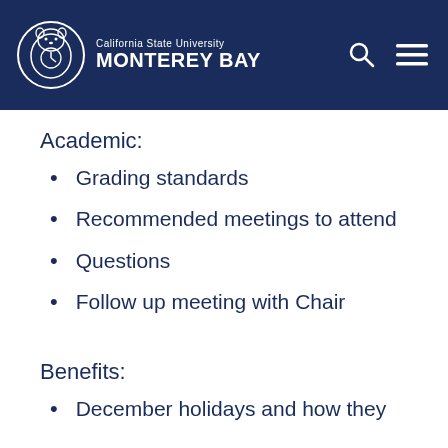California State University MONTEREY BAY
Academic:
Grading standards
Recommended meetings to attend
Questions
Follow up meeting with Chair
Benefits:
December holidays and how they